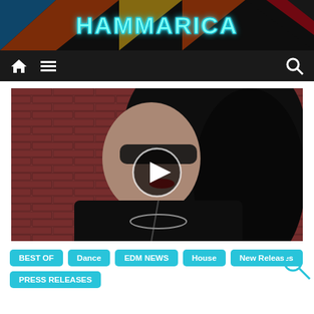HAMMARICA
[Figure (screenshot): Navigation bar with home icon, hamburger menu, and search icon on dark background]
[Figure (photo): Woman with dark hair, sunglasses, and leather jacket against a red brick wall, with a video play button overlay in the center]
BEST OF
Dance
EDM NEWS
House
New Releases
PRESS RELEASES